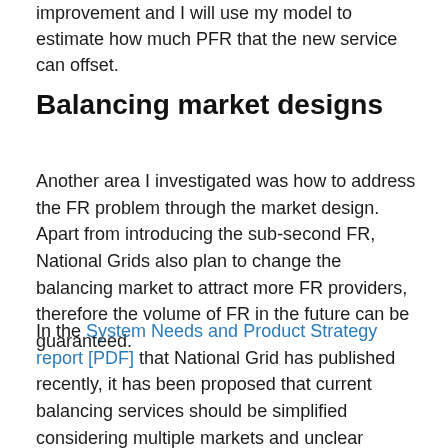improvement and I will use my model to estimate how much PFR that the new service can offset.
Balancing market designs
Another area I investigated was how to address the FR problem through the market design. Apart from introducing the sub-second FR, National Grids also plan to change the balancing market to attract more FR providers, therefore the volume of FR in the future can be guaranteed.
In the System Needs and Product Strategy report [PDF] that National Grid has published recently, it has been proposed that current balancing services should be simplified considering multiple markets and unclear services criterion at present. Obsolete products will be removed and then requirements will be standardised along